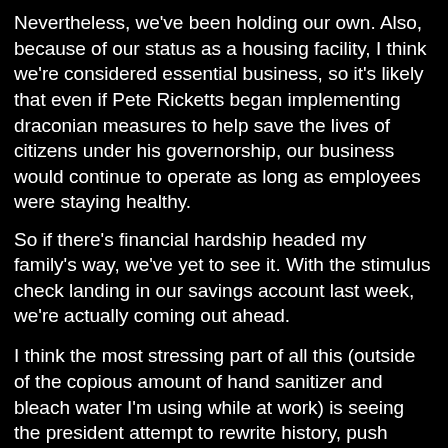Nevertheless, we've been holding our own. Also, because of our status as a housing facility, I think we're considered essential business, so it's likely that even if Pete Ricketts began implementing draconian measures to help save the lives of citizens under his governorship, our business would continue to operate as long as employees were staying healthy. So if there's financial hardship headed my family's way, we've yet to see it. With the stimulus check landing in our savings account last week, we're actually coming out ahead.

I think the most stressing part of all this (outside of the copious amount of hand sanitizer and bleach water I'm using while at work) is seeing the president attempt to rewrite history, push conspiracy theories,